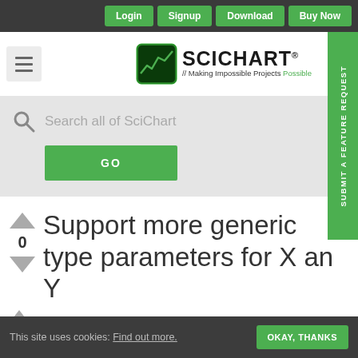Login | Signup | Download | Buy Now
[Figure (logo): SciChart logo with tagline // Making Impossible Projects Possible]
Search all of SciChart
GO
Support more generic type parameters for X and Y
This site uses cookies: Find out more. OKAY, THANKS